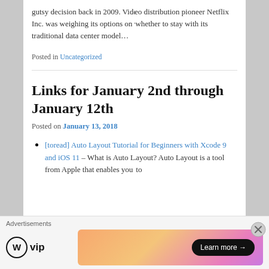gutsy decision back in 2009. Video distribution pioneer Netflix Inc. was weighing its options on whether to stay with its traditional data center model…
Posted in Uncategorized
Links for January 2nd through January 12th
Posted on January 13, 2018
[toread] Auto Layout Tutorial for Beginners with Xcode 9 and iOS 11 – What is Auto Layout? Auto Layout is a tool from Apple that enables you to
[Figure (other): Advertisements bar with WordPress VIP logo and a colorful gradient ad banner with 'Learn more →' button]